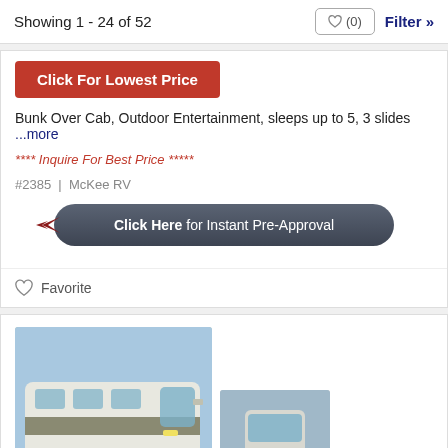Showing 1 - 24 of 52   ♥ (0)   Filter »
[Figure (screenshot): Red button labeled 'Click For Lowest Price']
Bunk Over Cab, Outdoor Entertainment, sleeps up to 5, 3 slides ...more
**** Inquire For Best Price *****
#2385  |  McKee RV
[Figure (screenshot): Dark rounded button with arrow: 'Click Here for Instant Pre-Approval']
♡ Favorite
[Figure (photo): RV motorhome exterior photo, large white Class A motorhome on driveway, +76 photos indicator, plus thumbnail of second RV]
[Figure (screenshot): Blue chat button in bottom right corner]